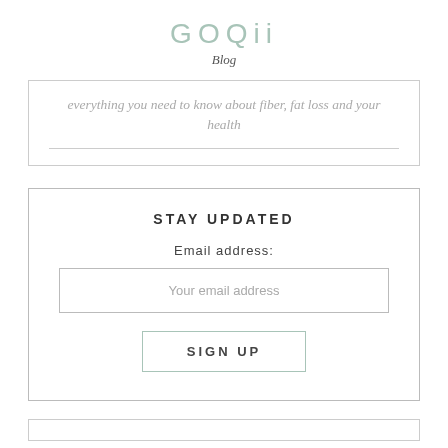GOQii
Blog
everything you need to know about fiber, fat loss and your health
STAY UPDATED
Email address:
Your email address
SIGN UP